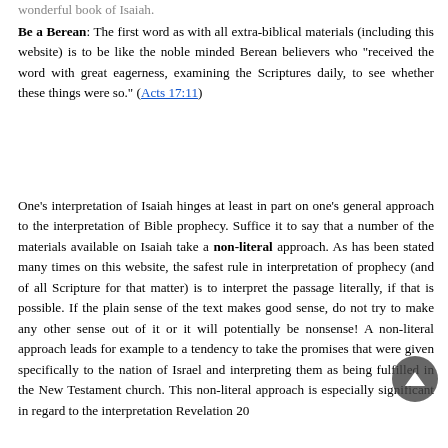Be a Berean: The first word as with all extra-biblical materials (including this website) is to be like the noble minded Berean believers who "received the word with great eagerness, examining the Scriptures daily, to see whether these things were so." (Acts 17:11)
One's interpretation of Isaiah hinges at least in part on one's general approach to the interpretation of Bible prophecy. Suffice it to say that a number of the materials available on Isaiah take a non-literal approach. As has been stated many times on this website, the safest rule in interpretation of prophecy (and of all Scripture for that matter) is to interpret the passage literally, if that is possible. If the plain sense of the text makes good sense, do not try to make any other sense out of it or it will potentially be nonsense! A non-literal approach leads for example to a tendency to take the promises that were given specifically to the nation of Israel and interpreting them as being fulfilled in the New Testament church. This non-literal approach is especially significant in regard to the interpretation Revelation 20